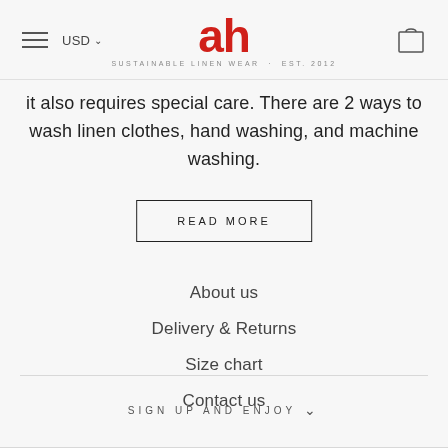USD  ah  SUSTAINABLE LINEN WEAR · EST. 2012
it also requires special care. There are 2 ways to wash linen clothes, hand washing, and machine washing.
READ MORE
About us
Delivery & Returns
Size chart
Contact us
SIGN UP AND ENJOY